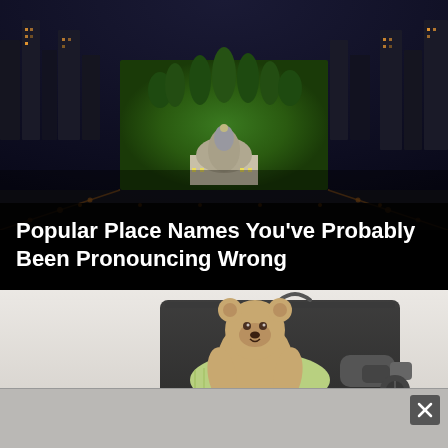[Figure (photo): Aerial night view of a city with a large central park and domed government building, streets lit with orange lights, surrounded by urban high-rise buildings]
Popular Place Names You've Probably Been Pronouncing Wrong
[Figure (photo): Open travel suitcase packed with clothes, a teddy bear, and a hair dryer — on a light grey background]